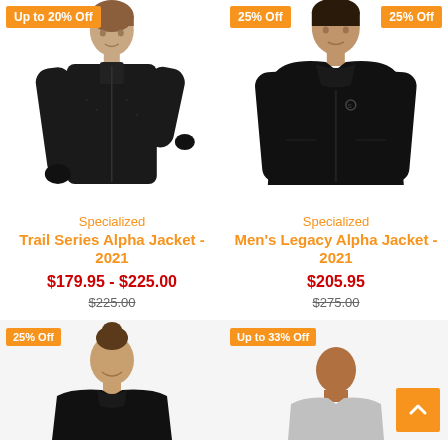[Figure (photo): Woman wearing black Specialized Trail Series Alpha Jacket 2021 with 'Up to 20% Off' badge]
Specialized
Trail Series Alpha Jacket - 2021
$179.95 - $225.00
$225.00
[Figure (photo): Man wearing black Specialized Men's Legacy Alpha Jacket 2021 with '25% Off' badge]
Specialized
Men's Legacy Alpha Jacket - 2021
$205.95
$275.00
[Figure (photo): Woman wearing black jacket, partially visible, with '25% Off' badge]
[Figure (photo): Person partially visible with 'Up to 33% Off' badge, scroll-to-top button visible]